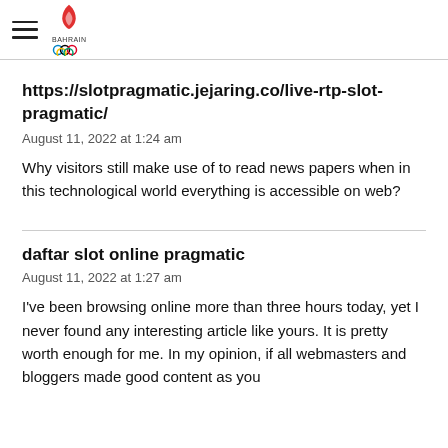Bahrain Olympic Committee
https://slotpragmatic.jejaring.co/live-rtp-slot-pragmatic/
August 11, 2022 at 1:24 am
Why visitors still make use of to read news papers when in this technological world everything is accessible on web?
daftar slot online pragmatic
August 11, 2022 at 1:27 am
I've been browsing online more than three hours today, yet I never found any interesting article like yours. It is pretty worth enough for me. In my opinion, if all webmasters and bloggers made good content as you